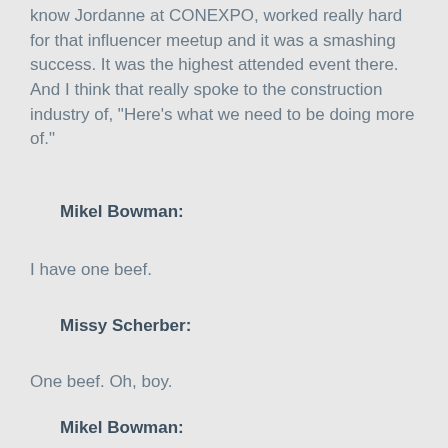know Jordanne at CONEXPO, worked really hard for that influencer meetup and it was a smashing success. It was the highest attended event there. And I think that really spoke to the construction industry of, "Here's what we need to be doing more of."
Mikel Bowman:
I have one beef.
Missy Scherber:
One beef. Oh, boy.
Mikel Bowman:
One beef. So I got up to get a beer and they were al...